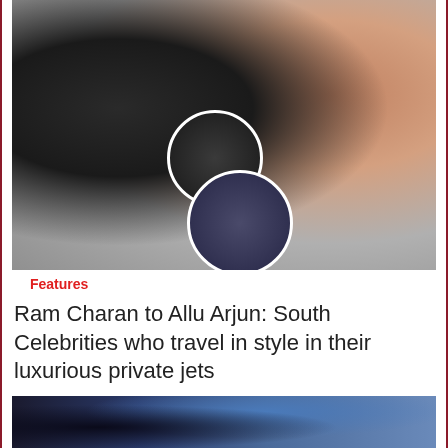[Figure (photo): Two South Indian male celebrities (Ram Charan and Prabhas) in a composite photo, with two circular inset photos showing celebrities inside private jets]
Features
Ram Charan to Allu Arjun: South Celebrities who travel in style in their luxurious private jets
[Figure (photo): Bottom partial image showing a night scene with blue tones, partially visible]